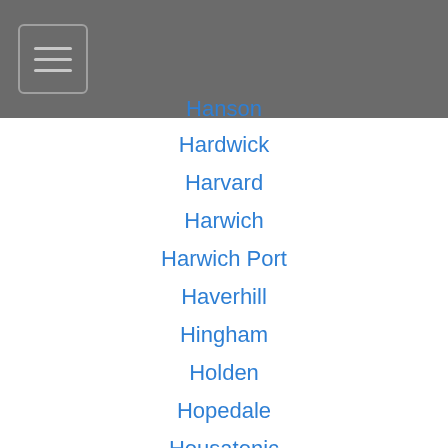Hanson
Hardwick
Harvard
Harwich
Harwich Port
Haverhill
Hingham
Holden
Hopedale
Housatonic